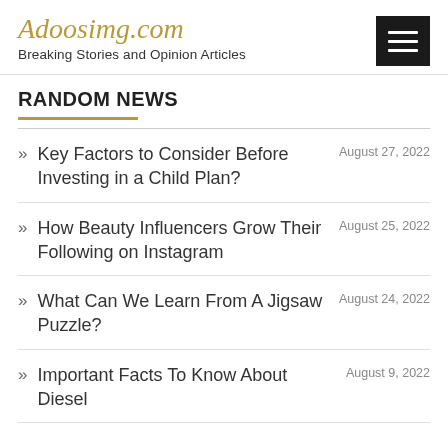Adoosimg.com
Breaking Stories and Opinion Articles
RANDOM NEWS
Key Factors to Consider Before Investing in a Child Plan? — August 27, 2022
How Beauty Influencers Grow Their Following on Instagram — August 25, 2022
What Can We Learn From A Jigsaw Puzzle? — August 24, 2022
Important Facts To Know About Diesel — August 9, 2022